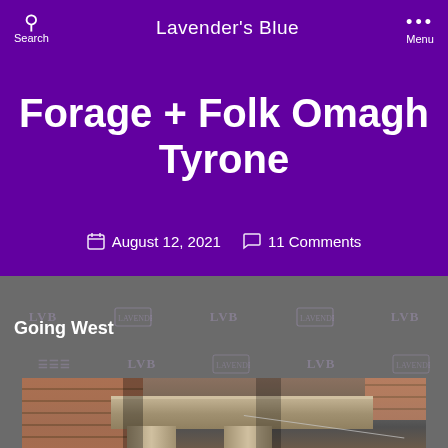Lavender's Blue
Forage + Folk Omagh Tyrone
August 12, 2021   11 Comments
Going West
[Figure (photo): Architectural photograph showing stone cornice and column details of a building facade with brick walls and weathering/staining]